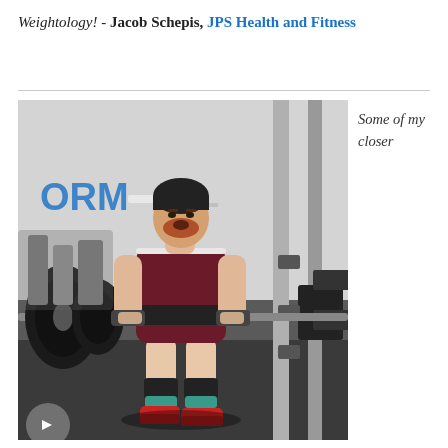Weightology! - Jacob Schepis, JPS Health and Fitness
[Figure (photo): A powerlifter in a maroon singlet, black weightlifting belt, red Converse shoes, and teal/black socks and knee wraps, performing a deadlift in a gym. The person wears a black beanie and wrist wraps. A large barbell with black weight plates is visible. The gym background shows the word 'ORM' (part of 'FORM') on the wall and various gym equipment.]
Some of my closer